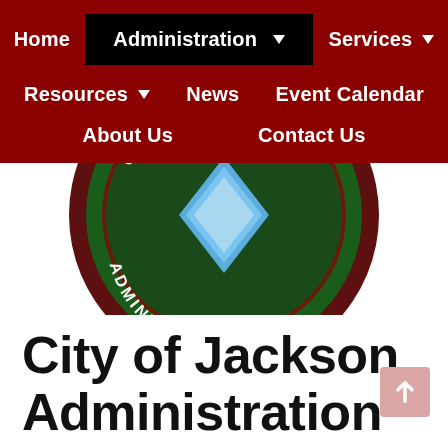Home | Administration ▼ | Services ▼ | Resources ▼ | News | Event Calendar | About Us | Contact Us
[Figure (logo): City of Jackson Alabama Administration seal — circular green and brown seal with text 'JACKSON ALABAMA ADMINISTRATION' and a blue diamond shield shape in the center, cropped showing bottom portion of the seal]
City of Jackson Administration